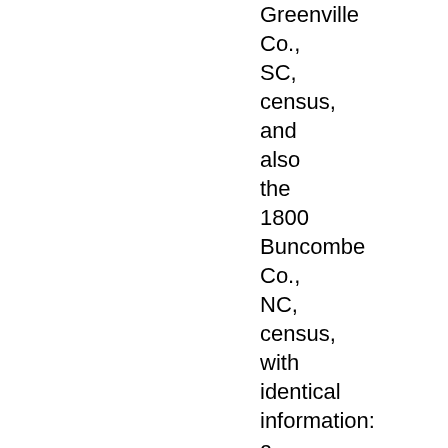Greenville Co., SC, census, and also the 1800 Buncombe Co., NC, census, with identical information: a male aged 10-15, a